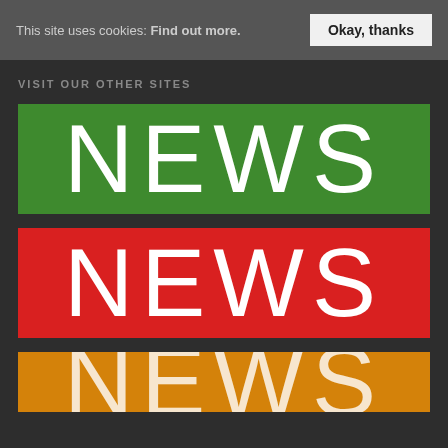This site uses cookies: Find out more.   Okay, thanks
VISIT OUR OTHER SITES
[Figure (logo): Green banner with large white text NEWS]
[Figure (logo): Red banner with large white text NEWS]
[Figure (logo): Orange banner with large white text NEWS (partially visible)]